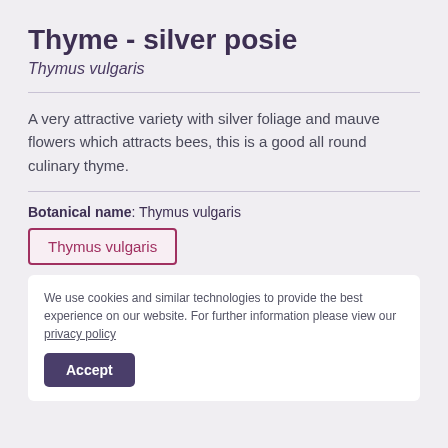Thyme - silver posie
Thymus vulgaris
A very attractive variety with silver foliage and mauve flowers which attracts bees, this is a good all round culinary thyme.
Botanical name: Thymus vulgaris
Thymus vulgaris
We use cookies and similar technologies to provide the best experience on our website. For further information please view our privacy policy
Accept